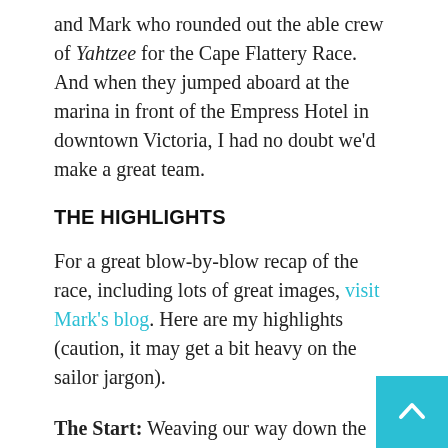and Mark who rounded out the able crew of Yahtzee for the Cape Flattery Race. And when they jumped aboard at the marina in front of the Empress Hotel in downtown Victoria, I had no doubt we'd make a great team.
THE HIGHLIGHTS
For a great blow-by-blow recap of the race, including lots of great images, visit Mark's blog. Here are my highlights (caution, it may get a bit heavy on the sailor jargon).
The Start: Weaving our way down the start line off Clover Point on port tack, I called for the sails to be trimmed when I noticed a potential way for us to